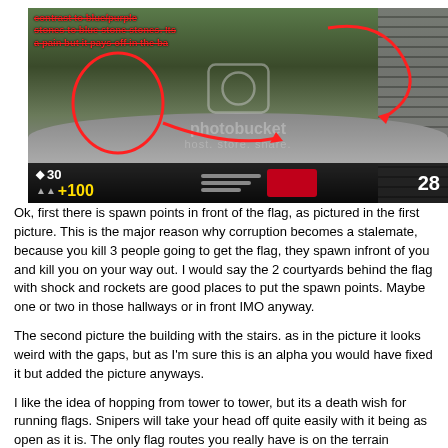[Figure (screenshot): A screenshot from a first-person shooter video game (appears to be Unreal Tournament or similar) with a Photobucket watermark overlay. The game HUD shows health '30', armor '+100', and score '28'. Red annotation text and arrows are drawn on the image.]
Ok, first there is spawn points in front of the flag, as pictured in the first picture. This is the major reason why corruption becomes a stalemate, because you kill 3 people going to get the flag, they spawn infront of you and kill you on your way out. I would say the 2 courtyards behind the flag with shock and rockets are good places to put the spawn points. Maybe one or two in those hallways or in front IMO anyway.
The second picture the building with the stairs. as in the picture it looks weird with the gaps, but as I'm sure this is an alpha you would have fixed it but added the picture anyways.
I like the idea of hopping from tower to tower, but its a death wish for running flags. Snipers will take your head off quite easily with it being as open as it is. The only flag routes you really have is on the terrain